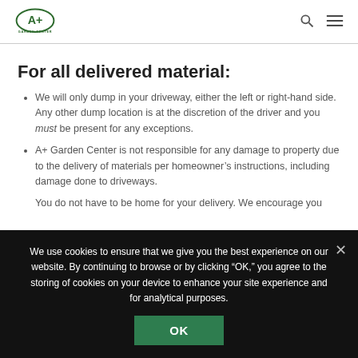A+ Garden Center
For all delivered material:
We will only dump in your driveway, either the left or right-hand side. Any other dump location is at the discretion of the driver and you must be present for any exceptions.
A+ Garden Center is not responsible for any damage to property due to the delivery of materials per homeowner’s instructions, including damage done to driveways.
You do not have to be home for your delivery. We encourage you...
We use cookies to ensure that we give you the best experience on our website. By continuing to browse or by clicking "OK," you agree to the storing of cookies on your device to enhance your site experience and for analytical purposes.